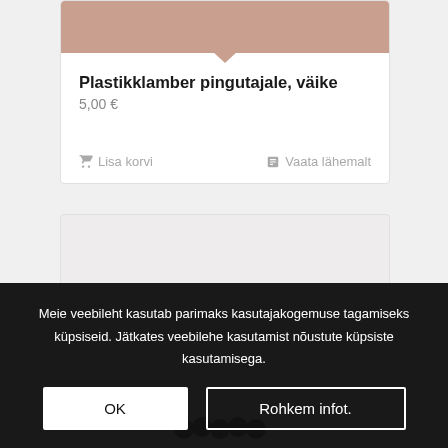[Figure (photo): Top portion of product card showing a pinkish-beige product image with a notch at the bottom center]
Plastikklamber pingutajale, väike
5,00 €
🛒 Lisa korvi    📋 Vaata lähemalt
[Figure (photo): Second product card with light gray/beige background image, partially visible with cookie banner overlay. Small dark copper rings visible at bottom.]
Meie veebileht kasutab parimaks kasutajakogemuse tagamiseks küpsiseid. Jätkates veebilehe kasutamist nõustute küpsiste kasutamisega.
OK
Rohkem infot.